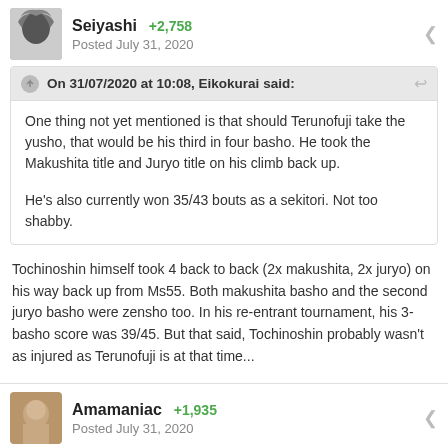Seiyashi +2,758 Posted July 31, 2020
On 31/07/2020 at 10:08, Eikokurai said: One thing not yet mentioned is that should Terunofuji take the yusho, that would be his third in four basho. He took the Makushita title and Juryo title on his climb back up. He's also currently won 35/43 bouts as a sekitori. Not too shabby.
Tochinoshin himself took 4 back to back (2x makushita, 2x juryo) on his way back up from Ms55. Both makushita basho and the second juryo basho were zensho too. In his re-entrant tournament, his 3-basho score was 39/45. But that said, Tochinoshin probably wasn't as injured as Terunofuji is at that time...
Amamaniac +1,935 Posted July 31, 2020